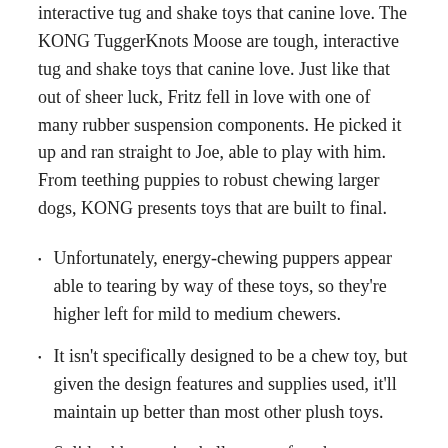interactive tug and shake toys that canine love. The KONG TuggerKnots Moose are tough, interactive tug and shake toys that canine love. Just like that out of sheer luck, Fritz fell in love with one of many rubber suspension components. He picked it up and ran straight to Joe, able to play with him. From teething puppies to robust chewing larger dogs, KONG presents toys that are built to final.
Unfortunately, energy-chewing puppers appear able to tearing by way of these toys, so they're higher left for mild to medium chewers.
It isn't specifically designed to be a chew toy, but given the design features and supplies used, it'll maintain up better than most other plush toys.
Solid rubber canine balls are perfect, however some